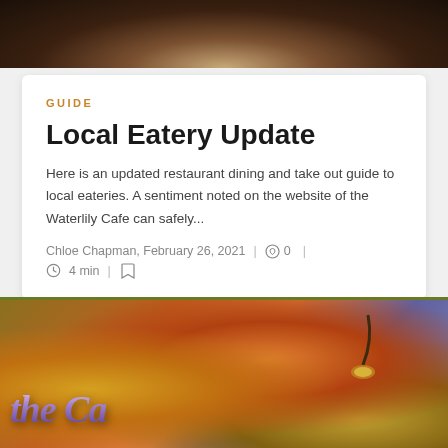[Figure (photo): Top portion of a dark image showing what appears to be a dark bowl or plate on a wooden surface, partially cropped at top of page.]
GUIDE
Local Eatery Update
Here is an updated restaurant dining and take out guide to local eateries. A sentiment noted on the website of the Waterlily Cafe can safely...
Chloe Chapman, February 26, 2021  |  0  |  4 min  |
[Figure (photo): Colorful illuminated restaurant sign reading 'The Ca...' (The Canyon or similar), with warm orange and purple glowing letters against a blue sky background, with a street lamp visible.]